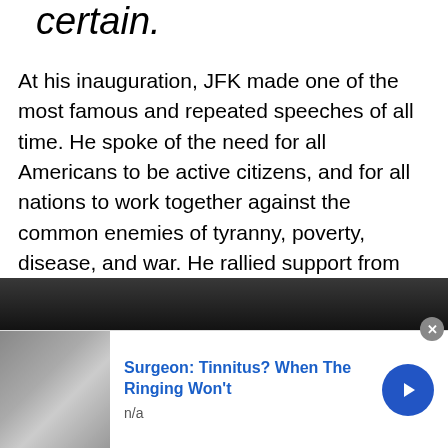unchangeable or certain.
At his inauguration, JFK made one of the most famous and repeated speeches of all time. He spoke of the need for all Americans to be active citizens, and for all nations to work together against the common enemies of tyranny, poverty, disease, and war. He rallied support from those who had voted for him, and from those who hadn't, calling the people of the United States of America to:
[Figure (photo): Dark photograph of a crowd, partially visible at bottom of page]
[Figure (photo): Advertisement banner: image of a person lying down on left, text 'Surgeon: Tinnitus? When The Ringing Won't' in blue, 'n/a' below, blue circular arrow button on right, close X button top right]